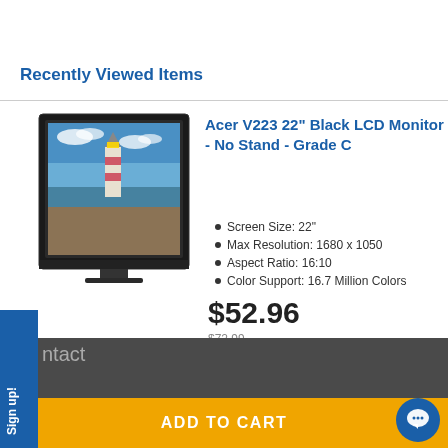Recently Viewed Items
[Figure (photo): Acer V223 22-inch black LCD monitor displaying a lighthouse scene against a blue sky, shown without stand]
Acer V223 22" Black LCD Monitor - No Stand - Grade C
Screen Size: 22"
Max Resolution: 1680 x 1050
Aspect Ratio: 16:10
Color Support: 16.7 Million Colors
$52.96
$72.99
ADD TO CART